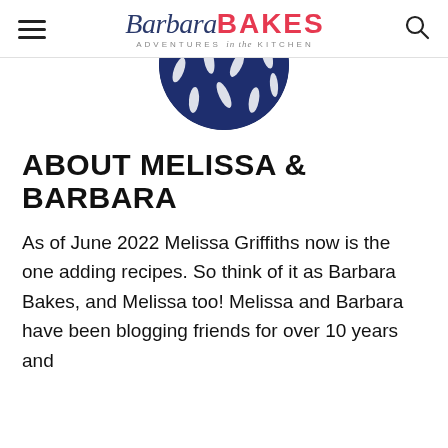Barbara BAKES — ADVENTURES in the KITCHEN
[Figure (photo): Circular cropped photo showing a navy blue and white patterned fabric or clothing item, partially visible at the top of the page]
ABOUT MELISSA & BARBARA
As of June 2022 Melissa Griffiths now is the one adding recipes. So think of it as Barbara Bakes, and Melissa too! Melissa and Barbara have been blogging friends for over 10 years and